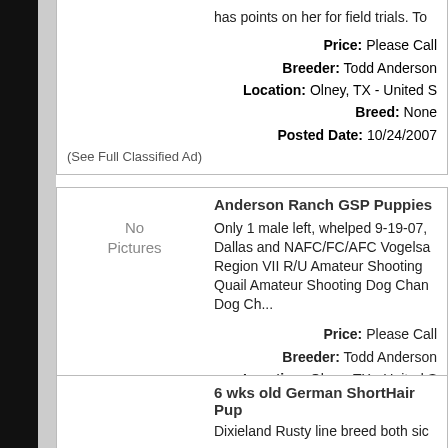has points on her for field trials. To
Price: Please Call
Breeder: Todd Anderson
Location: Olney, TX - United S
Breed: None
Posted Date: 10/24/2007
(See Full Classified Ad)
Anderson Ranch GSP Puppies
Only 1 male left, whelped 9-19-07, Dallas and NAFC/FC/AFC Vogelsa Region VII R/U Amateur Shooting Quail Amateur Shooting Dog Chan Dog Ch...
[Figure (other): No Pictures placeholder]
(See Full Classified Ad)
Price: Please Call
Breeder: Todd Anderson
Location: Olney, TX - United S
Breed: None
Posted Date: 10/24/2007
6 wks old German ShortHair Pup
Dixieland Rusty line breed both sic